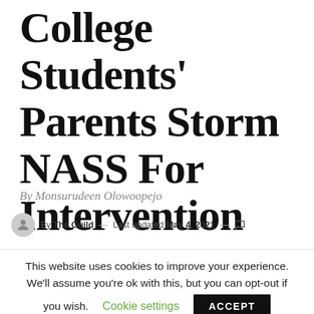College Students' Parents Storm NASS For Intervention
By Monsurudeen Olowoopejo
By The Guild — Last updated May 4, 2021 —
This website uses cookies to improve your experience. We'll assume you're ok with this, but you can opt-out if you wish. Cookie settings ACCEPT